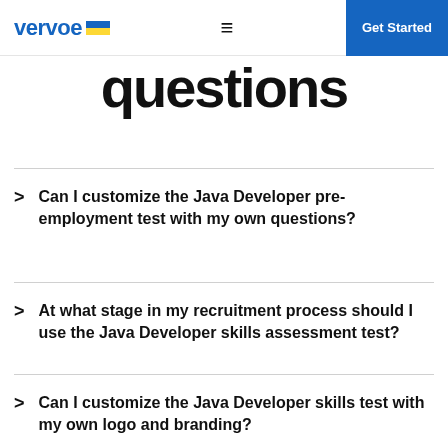vervoe | Get Started
questions
Can I customize the Java Developer pre-employment test with my own questions?
At what stage in my recruitment process should I use the Java Developer skills assessment test?
Can I customize the Java Developer skills test with my own logo and branding?